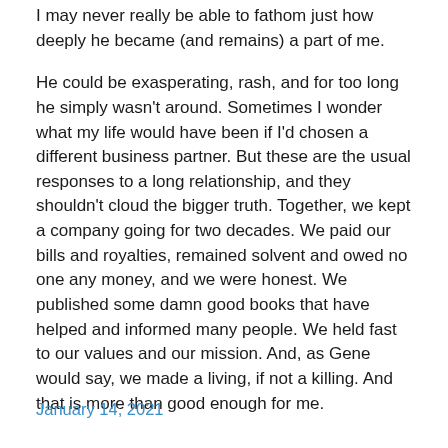I may never really be able to fathom just how deeply he became (and remains) a part of me.
He could be exasperating, rash, and for too long he simply wasn't around. Sometimes I wonder what my life would have been if I'd chosen a different business partner. But these are the usual responses to a long relationship, and they shouldn't cloud the bigger truth. Together, we kept a company going for two decades. We paid our bills and royalties, remained solvent and owed no one any money, and we were honest. We published some damn good books that have helped and informed many people. We held fast to our values and our mission. And, as Gene would say, we made a living, if not a killing. And that is more than good enough for me.
January 14, 2021